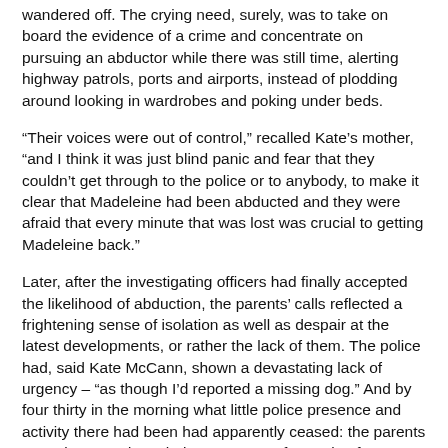wandered off. The crying need, surely, was to take on board the evidence of a crime and concentrate on pursuing an abductor while there was still time, alerting highway patrols, ports and airports, instead of plodding around looking in wardrobes and poking under beds.
“Their voices were out of control,” recalled Kate’s mother, “and I think it was just blind panic and fear that they couldn’t get through to the police or to anybody, to make it clear that Madeleine had been abducted and they were afraid that every minute that was lost was crucial to getting Madeleine back.”
Later, after the investigating officers had finally accepted the likelihood of abduction, the parents’ calls reflected a frightening sense of isolation as well as despair at the latest developments, or rather the lack of them. The police had, said Kate McCann, shown a devastating lack of urgency – “as though I’d reported a missing dog.” And by four thirty in the morning what little police presence and activity there had been had apparently ceased: the parents were, it seemed, on their own. “It was frustrating for Gerry,” said Mrs Cameron again, after yet another phone call, “because between 5am